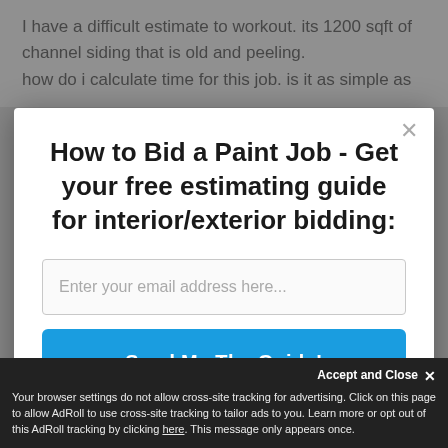I have a difficult estimate to workout. its 1200 sqft of channel siding that is old and peeling. how do i calculate time for this job. is it as simple as
How to Bid a Paint Job - Get your free estimating guide for interior/exterior bidding:
Enter your email address here...
Send Me The Guide!
Accept and Close ×
Your browser settings do not allow cross-site tracking for advertising. Click on this page to allow AdRoll to use cross-site tracking to tailor ads to you. Learn more or opt out of this AdRoll tracking by clicking here. This message only appears once.